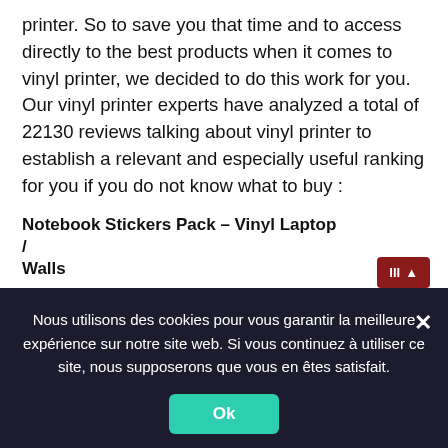printer. So to save you that time and to access directly to the best products when it comes to vinyl printer, we decided to do this work for you. Our vinyl printer experts have analyzed a total of 22130 reviews talking about vinyl printer to establish a relevant and especially useful ranking for you if you do not know what to buy :
BESTSELLER NO. 1
[Figure (photo): A laptop with paw print vinyl sticker decals arranged diagonally across the screen]
Notebook Stickers Pack – Vinyl Laptop / Wall.
Nous utilisons des cookies pour vous garantir la meilleure expérience sur notre site web. Si vous continuez à utiliser ce site, nous supposerons que vous en êtes satisfait.